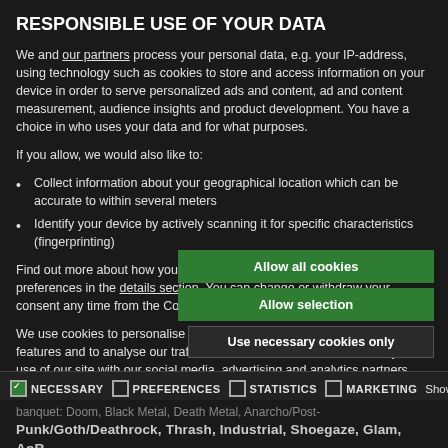RESPONSIBLE USE OF YOUR DATA
We and our partners process your personal data, e.g. your IP-address, using technology such as cookies to store and access information on your device in order to serve personalized ads and content, ad and content measurement, audience insights and product development. You have a choice in who uses your data and for what purposes.
If you allow, we would also like to:
Collect information about your geographical location which can be accurate to within several meters
Identify your device by actively scanning it for specific characteristics (fingerprinting)
Find out more about how your personal data is processed and set your preferences in the details section. You can change or withdraw your consent any time from the Cookie Declaration.
We use cookies to personalise content and ads, to provide social media features and to analyse our traffic. We also share information about your use of our site with our social media, advertising and analytics partners who may combine it with other information that you've provided to them or that they've collected from your use of their services.
Allow all cookies
Allow selection
Use necessary cookies only
NECESSARY  PREFERENCES  STATISTICS  MARKETING  Show details
banquet: Doom, Black Metal, Death Metal, Anarcho/Post-
Punk/Goth/Deathrock, Thrash, Industrial, Shoegaze, Glam, AoR